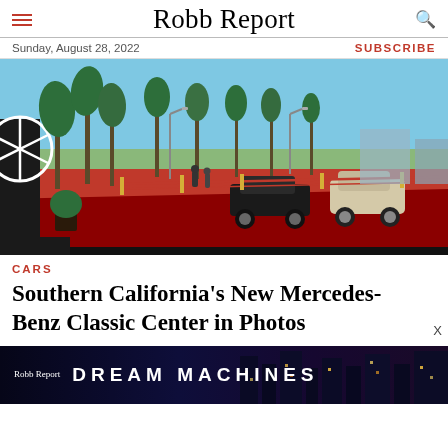Robb Report
Sunday, August 28, 2022
SUBSCRIBE
[Figure (photo): Outdoor event at a Mercedes-Benz Classic Center in Southern California. A red carpet runs along a driveway lined with palm trees and classic Mercedes-Benz automobiles behind red velvet ropes. A large Mercedes-Benz star logo is visible on the left. Buildings and blue sky are visible in the background.]
CARS
Southern California's New Mercedes-Benz Classic Center in Photos
[Figure (screenshot): Robb Report Dream Machines advertisement banner with dark blue/purple background and city lights.]